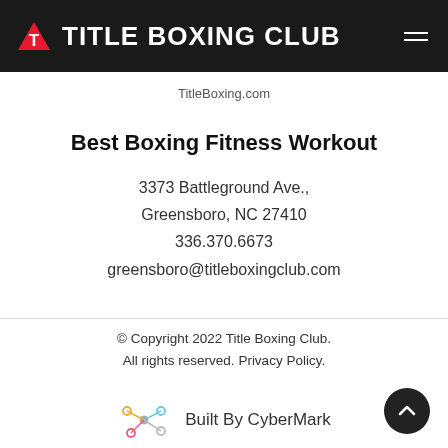TITLE BOXING CLUB
TitleBoxing.com
Best Boxing Fitness Workout
3373 Battleground Ave.,
Greensboro, NC 27410
336.370.6673
greensboro@titleboxingclub.com
© Copyright 2022 Title Boxing Club. All rights reserved. Privacy Policy.
Built By CyberMark